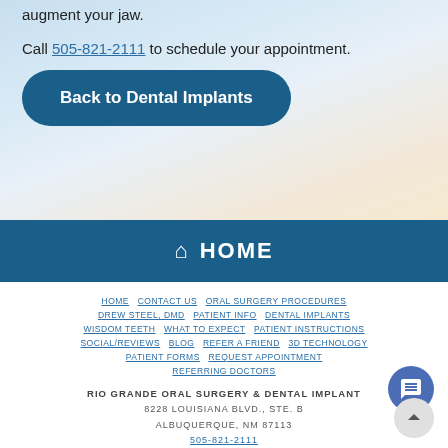augment your jaw. Call 505-821-2111 to schedule your appointment.
Back to Dental Implants
HOME
HOME  CONTACT US  ORAL SURGERY PROCEDURES  DREW STEEL, DMD  PATIENT INFO  DENTAL IMPLANTS  WISDOM TEETH  WHAT TO EXPECT  PATIENT INSTRUCTIONS  SOCIAL/REVIEWS  BLOG  REFER A FRIEND  3D TECHNOLOGY  PATIENT FORMS  REQUEST APPOINTMENT  REFERRING DOCTORS
RIO GRANDE ORAL SURGERY & DENTAL IMPLANT
8228 LOUISIANA BLVD., STE. B
ALBUQUERQUE, NM 87113
505-821-2111